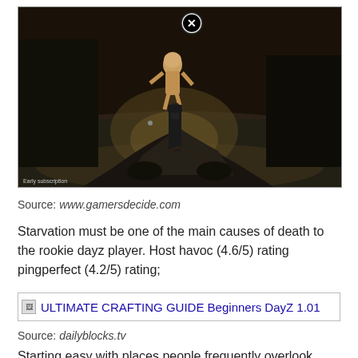[Figure (screenshot): First-person shooter game screenshot (DayZ) showing a player aiming at a humanoid figure in a dark road environment, with a circle-X crosshair icon near the target. Dark nighttime scene.]
Source: www.gamersdecide.com
Starvation must be one of the main causes of death to the rookie dayz player. Host havoc (4.6/5) rating pingperfect (4.2/5) rating;
[Figure (screenshot): Thumbnail/link image: ULTIMATE CRAFTING GUIDE Beginners DayZ 1.01]
Source: dailyblocks.tv
Starting easy with places people frequently overlook when scavenging for supplies in dayz, the humble